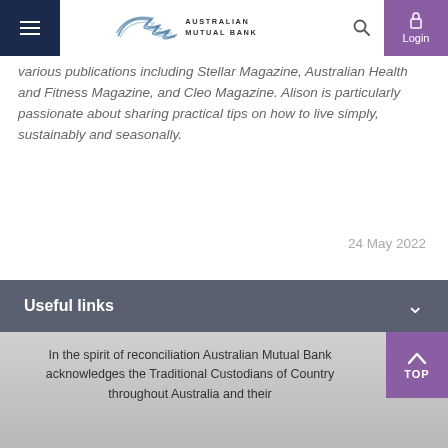[Figure (logo): Australian Mutual Bank logo with stylized wave/feather icon]
various publications including Stellar Magazine, Australian Health and Fitness Magazine, and Cleo Magazine. Alison is particularly passionate about sharing practical tips on how to live simply, sustainably and seasonally.
24 May 2022
Useful links
In the spirit of reconciliation Australian Mutual Bank acknowledges the Traditional Custodians of Country throughout Australia and their